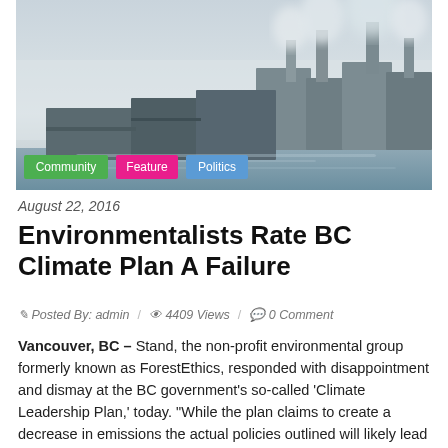[Figure (photo): Industrial facility with smoke stacks emitting steam/smoke against a hazy sky, near a waterfront. Tags overlaid: Community, Feature, Politics.]
August 22, 2016
Environmentalists Rate BC Climate Plan A Failure
Posted By: admin  /  4409 Views  /  0 Comment
Vancouver, BC – Stand, the non-profit environmental group formerly known as ForestEthics, responded with disappointment and dismay at the BC government's so-called 'Climate Leadership Plan,' today. "While the plan claims to create a decrease in emissions the actual policies outlined will likely lead to an increase in CO2 emissions over the next decade," said Karen Mahon, National Director of Stand.